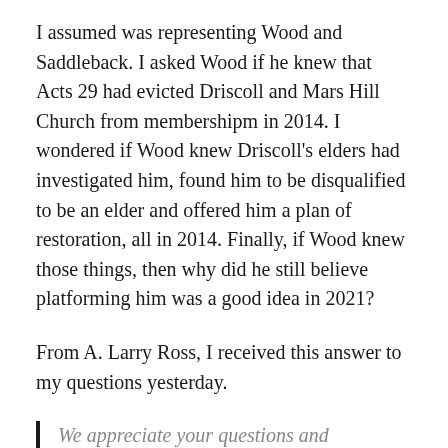I assumed was representing Wood and Saddleback. I asked Wood if he knew that Acts 29 had evicted Driscoll and Mars Hill Church from membershipm in 2014. I wondered if Wood knew Driscoll's elders had investigated him, found him to be disqualified to be an elder and offered him a plan of restoration, all in 2014. Finally, if Wood knew those things, then why did he still believe platforming him was a good idea in 2021?
From A. Larry Ross, I received this answer to my questions yesterday.
We appreciate your questions and commitment to thorough journalism